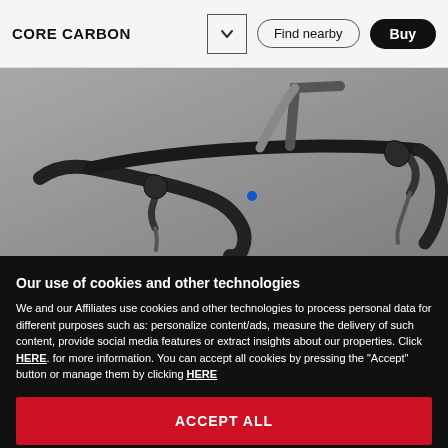CORE CARBON
[Figure (photo): Close-up photo of a carbon road bicycle handlebar and stem area, gray tones, drop handlebars with brake levers, blue logo visible on frame]
Our use of cookies and other technologies
We and our Affiliates use cookies and other technologies to process personal data for different purposes such as: personalize content/ads, measure the delivery of such content, provide social media features or extract insights about our properties. Click HERE. for more information. You can accept all cookies by pressing the "Accept" button or manage them by clicking HERE
ACCEPT ALL
Manage cookies